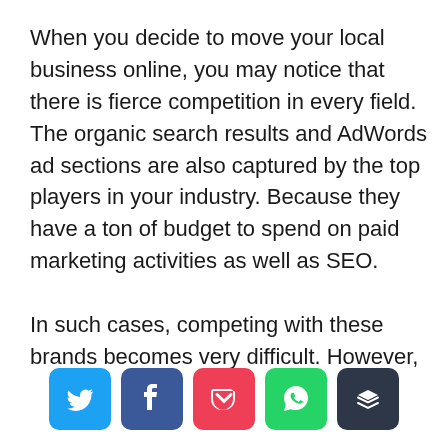When you decide to move your local business online, you may notice that there is fierce competition in every field. The organic search results and AdWords ad sections are also captured by the top players in your industry. Because they have a ton of budget to spend on paid marketing activities as well as SEO.

In such cases, competing with these brands becomes very difficult. However,
[Figure (infographic): Social sharing buttons row: Twitter (blue), Facebook (dark blue), Pocket (red), WhatsApp (green), Buffer (dark grey)]